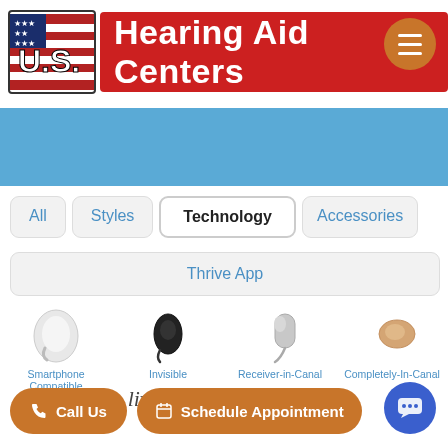[Figure (logo): U.S. Hearing Aid Centers logo with red banner and American flag styling]
[Figure (illustration): Orange hamburger menu button (three horizontal lines)]
[Figure (illustration): Blue horizontal band/hero banner area]
All
Styles
Technology
Accessories
Thrive App
[Figure (illustration): Smartphone Compatible hearing aid device icon (white/silver)]
Smartphone Compatible
[Figure (illustration): Invisible hearing aid device icon (black)]
Invisible
[Figure (illustration): Receiver-in-Canal hearing aid device icon]
Receiver-in-Canal
[Figure (illustration): Completely-In-Canal hearing aid device icon (beige)]
Completely-In-Canal
[Figure (logo): evolv AI brand logo]
E...
[Figure (logo): livio Edge AI brand logo]
Sta...
[Figure (logo): livio AI brand logo]
livio Al
[Figure (illustration): Call Us CTA button (orange pill shape)]
[Figure (illustration): Schedule Appointment CTA button (orange pill shape)]
[Figure (illustration): Blue chat bubble button (circle)]